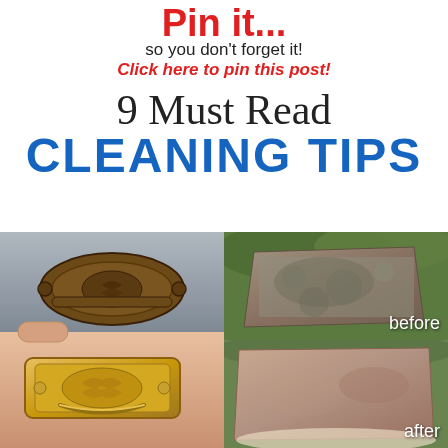Pin it... so you don't forget it! Click here to pin this post!
9 Must Read CLEANING TIPS
[Figure (photo): Left half: two brass/gold decorative drawer pulls, one tarnished (before) and one shiny (after). Right top: a dusty/dirty stone brick labeled 'before'. Right bottom: a clean stone brick labeled 'after'.]